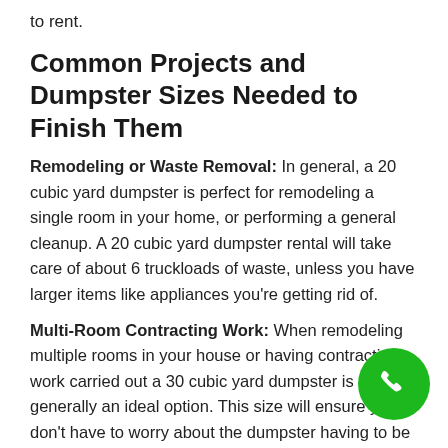to rent.
Common Projects and Dumpster Sizes Needed to Finish Them
Remodeling or Waste Removal: In general, a 20 cubic yard dumpster is perfect for remodeling a single room in your home, or performing a general cleanup. A 20 cubic yard dumpster rental will take care of about 6 truckloads of waste, unless you have larger items like appliances you're getting rid of.
Multi-Room Contracting Work: When remodeling multiple rooms in your house or having contracting work carried out a 30 cubic yard dumpster is generally an ideal option. This size will ensure you don't have to worry about the dumpster having to be unloaded and re... but rather it would only take a single trip.
Garage/Attic/Basement Cleanout: Getting the...